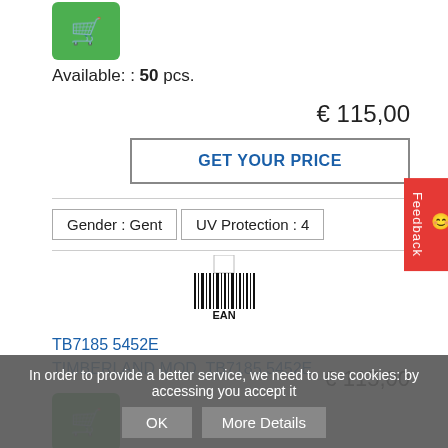[Figure (illustration): Green shopping cart button]
Available: : 50 pcs.
€ 115,00
GET YOUR PRICE
Gender : Gent
UV Protection : 4
[Figure (other): EAN barcode]
TB7185 5452E
TIMBERLAND MOD. TB7185 5452E
[Figure (illustration): Green shopping cart button]
Available: : 49 pcs.
€ 115,00
In order to provide a better service, we need to use cookies: by accessing you accept it
OK
More Details